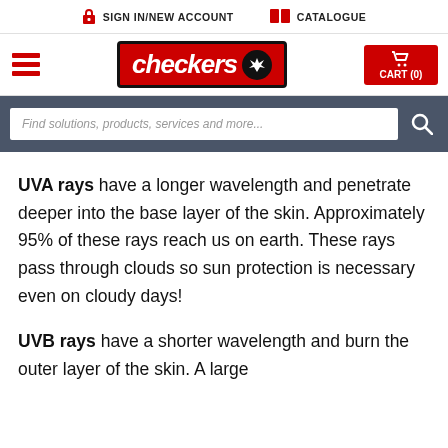SIGN IN/NEW ACCOUNT   CATALOGUE
[Figure (logo): Checkers grocery store logo in red and black with crown icon, hamburger menu icon in red, and CART (0) button in red]
Find solutions, products, services and more...
UVA rays have a longer wavelength and penetrate deeper into the base layer of the skin. Approximately 95% of these rays reach us on earth. These rays pass through clouds so sun protection is necessary even on cloudy days!
UVB rays have a shorter wavelength and burn the outer layer of the skin. A large...